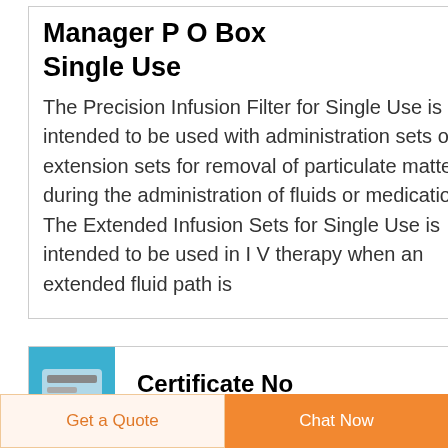Manager P O Box Single Use
The Precision Infusion Filter for Single Use is intended to be used with administration sets or extension sets for removal of particulate matter during the administration of fluids or medications The Extended Infusion Sets for Single Use is intended to be used in I V therapy when an extended fluid path is
[Figure (illustration): Dark navy blue circular button with white upward-pointing arrow icon]
[Figure (photo): Small product image with blue background showing a medical infusion filter device]
Certificate No
Get a Quote
Chat Now